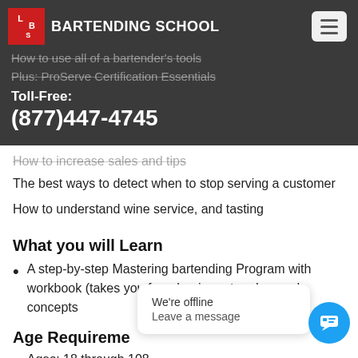LBS BARTENDING SCHOOL | Toll-Free: (877)447-4745
specialty cocktails.
How to use all of a bartender's tools
Plus: ProServe Certification Essentials
How to increase sales and tips
The best ways to detect when to stop serving a customer
How to understand wine service, and tasting
What you will Learn
A step-by-step Mastering bartending Program with workbook (takes you from beginner to advanced concepts
Age Requirements
Ages: 18 through 108